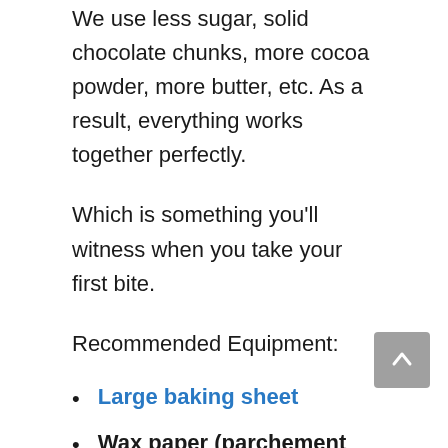We use less sugar, solid chocolate chunks, more cocoa powder, more butter, etc. As a result, everything works together perfectly.
Which is something you'll witness when you take your first bite.
Recommended Equipment:
Large baking sheet
Wax paper (parchement paper) or silicone mats
Large saucepan
Metal whisk